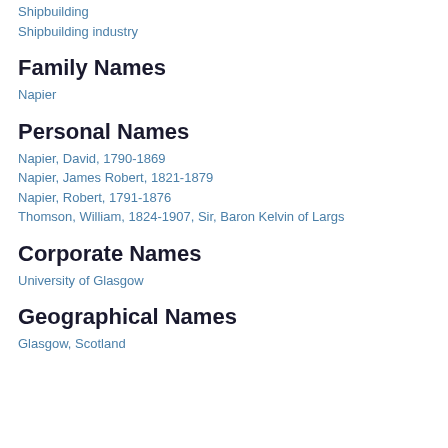Shipbuilding
Shipbuilding industry
Family Names
Napier
Personal Names
Napier, David, 1790-1869
Napier, James Robert, 1821-1879
Napier, Robert, 1791-1876
Thomson, William, 1824-1907, Sir, Baron Kelvin of Largs
Corporate Names
University of Glasgow
Geographical Names
Glasgow, Scotland